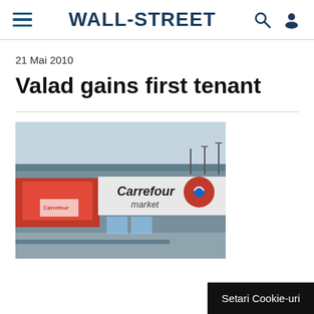WALL-STREET
21 Mai 2010
Valad gains first tenant
[Figure (photo): Exterior of a Carrefour market store, showing the storefront with Carrefour Market signage and logo.]
Setari Cookie-uri